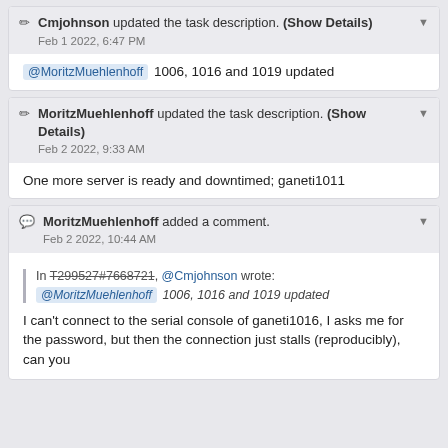Cmjohnson updated the task description. (Show Details) Feb 1 2022, 6:47 PM
@MoritzMuehlenhoff  1006, 1016 and 1019 updated
MoritzMuehlenhoff updated the task description. (Show Details) Feb 2 2022, 9:33 AM
One more server is ready and downtimed; ganeti1011
MoritzMuehlenhoff added a comment. Feb 2 2022, 10:44 AM
In T299527#7668721, @Cmjohnson wrote:
@MoritzMuehlenhoff  1006, 1016 and 1019 updated
I can't connect to the serial console of ganeti1016, I asks me for the password, but then the connection just stalls (reproducibly), can you